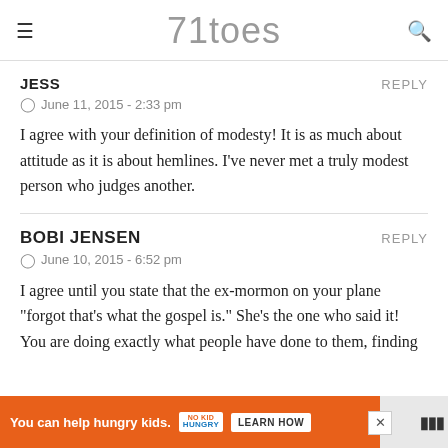71toes
JESS
REPLY
June 11, 2015 - 2:33 pm
I agree with your definition of modesty! It is as much about attitude as it is about hemlines. I've never met a truly modest person who judges another.
BOBI JENSEN
REPLY
June 10, 2015 - 6:52 pm
I agree until you state that the ex-mormon on your plane "forgot that's what the gospel is." She's the one who said it! You are doing exactly what people have done to them, finding wh...
[Figure (screenshot): Advertisement banner: orange background with 'You can help hungry kids.' text, No Kid Hungry logo, Learn How button, and close X button.]